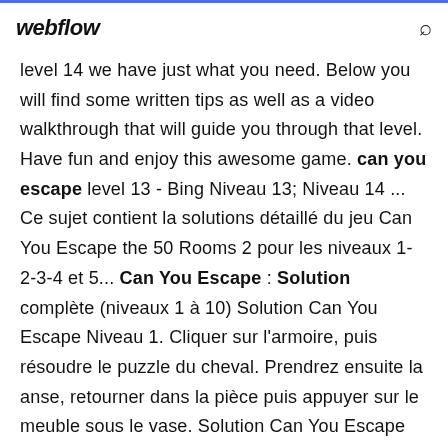webflow
level 14 we have just what you need. Below you will find some written tips as well as a video walkthrough that will guide you through that level. Have fun and enjoy this awesome game. can you escape level 13 - Bing Niveau 13; Niveau 14 ... Ce sujet contient la solutions détaillé du jeu Can You Escape the 50 Rooms 2 pour les niveaux 1-2-3-4 et 5... Can You Escape : Solution complète (niveaux 1 à 10) Solution Can You Escape Niveau 1. Cliquer sur l'armoire, puis résoudre le puzzle du cheval. Prendrez ensuite la anse, retourner dans la pièce puis appuyer sur le meuble sous le vase. Solution Can You Escape Niveau 2. Cliquer sur la mallette par terre, entrer le code : 493. L'ouvrir.